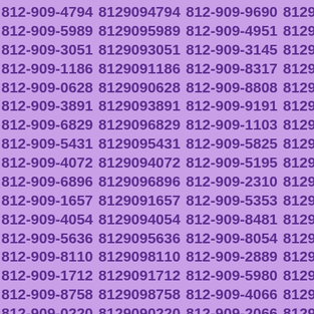812-909-4794 8129094794 812-909-9690 8129099690 812-909-5989 8129095989 812-909-4951 8129094951 812-909-3051 8129093051 812-909-3145 8129093145 812-909-1186 8129091186 812-909-8317 8129098317 812-909-0628 8129090628 812-909-8808 8129098808 812-909-3891 8129093891 812-909-9191 8129099191 812-909-6829 8129096829 812-909-1103 8129091103 812-909-5431 8129095431 812-909-5825 8129095825 812-909-4072 8129094072 812-909-5195 8129095195 812-909-6896 8129096896 812-909-2310 8129092310 812-909-1657 8129091657 812-909-5353 8129095353 812-909-4054 8129094054 812-909-8481 8129098481 812-909-5636 8129095636 812-909-8054 8129098054 812-909-8110 8129098110 812-909-2889 8129092889 812-909-1712 8129091712 812-909-5980 8129095980 812-909-8758 8129098758 812-909-4066 8129094066 812-909-0220 8129090220 812-909-2066 8129092066 812-909-3088 8129093088 812-909-1984 8129091984 812-909-6058 8129096058 812-909-3019 8129093019 812-909-8383 8129098383 812-909-5232 8129095232 812-909-6565 8129096565 812-909-5202 8129095202